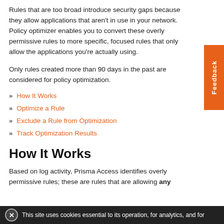Rules that are too broad introduce security gaps because they allow applications that aren't in use in your network. Policy optimizer enables you to convert these overly permissive rules to more specific, focused rules that only allow the applications you're actually using.
Only rules created more than 90 days in the past are considered for policy optimization.
How It Works
Optimize a Rule
Exclude a Rule from Optimization
Track Optimization Results
How It Works
Based on log activity, Prisma Access identifies overly permissive rules; these are rules that are allowing any
This site uses cookies essential to its operation, for analytics, and for